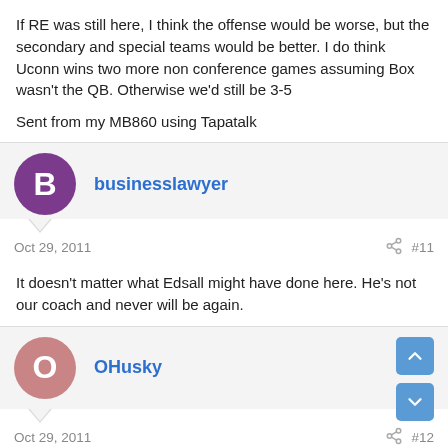If RE was still here, I think the offense would be worse, but the secondary and special teams would be better. I do think Uconn wins two more non conference games assuming Box wasn't the QB. Otherwise we'd still be 3-5
Sent from my MB860 using Tapatalk
businesslawyer
Oct 29, 2011  #11
It doesn't matter what Edsall might have done here. He's not our coach and never will be again.
OHusky
Oct 29, 2011  #12